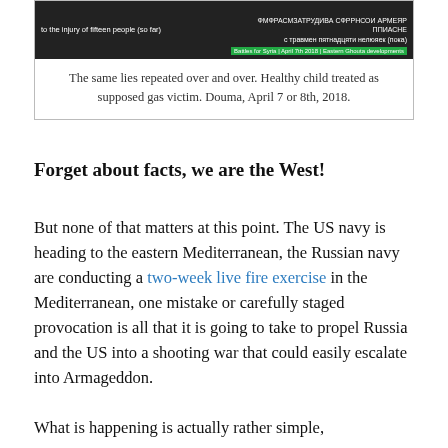[Figure (photo): Dark/black screenshot of news overlay with white text on left reading 'to the injury of fifteen people (so far)' and Cyrillic text on right, with a green banner tag at bottom right reading 'Battles for Syria | April 7th 2018 | Eastern Ghouta developments']
The same lies repeated over and over. Healthy child treated as supposed gas victim. Douma, April 7 or 8th, 2018.
Forget about facts, we are the West!
But none of that matters at this point. The US navy is heading to the eastern Mediterranean, the Russian navy are conducting a two-week live fire exercise in the Mediterranean, one mistake or carefully staged provocation is all that it is going to take to propel Russia and the US into a shooting war that could easily escalate into Armageddon.
What is happening is actually rather simple,